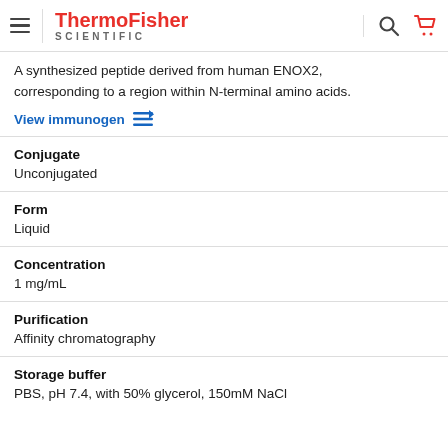ThermoFisher SCIENTIFIC
A synthesized peptide derived from human ENOX2, corresponding to a region within N-terminal amino acids.
View immunogen
Conjugate
Unconjugated
Form
Liquid
Concentration
1 mg/mL
Purification
Affinity chromatography
Storage buffer
PBS, pH 7.4, with 50% glycerol, 150mM NaCl